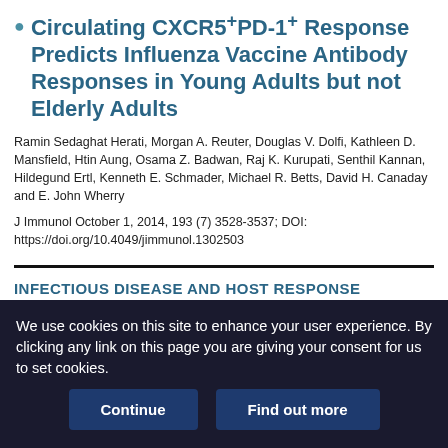Circulating CXCR5+PD-1+ Response Predicts Influenza Vaccine Antibody Responses in Young Adults but not Elderly Adults
Ramin Sedaghat Herati, Morgan A. Reuter, Douglas V. Dolfi, Kathleen D. Mansfield, Htin Aung, Osama Z. Badwan, Raj K. Kurupati, Senthil Kannan, Hildegund Ertl, Kenneth E. Schmader, Michael R. Betts, David H. Canaday and E. John Wherry
J Immunol October 1, 2014, 193 (7) 3528-3537; DOI: https://doi.org/10.4049/jimmunol.1302503
INFECTIOUS DISEASE AND HOST RESPONSE
We use cookies on this site to enhance your user experience. By clicking any link on this page you are giving your consent for us to set cookies.